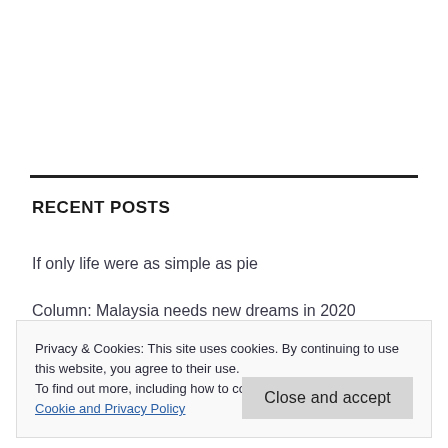RECENT POSTS
If only life were as simple as pie
Column: Malaysia needs new dreams in 2020
Privacy & Cookies: This site uses cookies. By continuing to use this website, you agree to their use.
To find out more, including how to control cookies, see here: Cookie and Privacy Policy
Close and accept